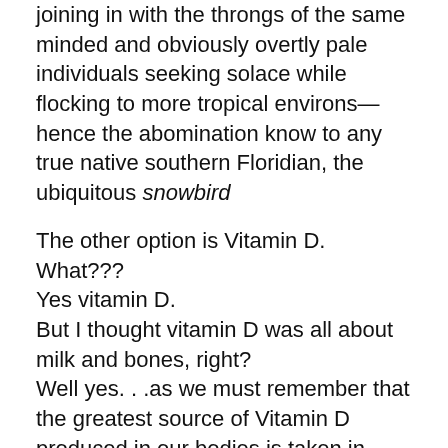joining in with the throngs of the same minded and obviously overtly pale individuals seeking solace while flocking to more tropical environs—hence the abomination know to any true native southern Floridian, the ubiquitous snowbird
The other option is Vitamin D.
What???
Yes vitamin D.
But I thought vitamin D was all about milk and bones, right?
Well yes. . .as we must remember that the greatest source of Vitamin D produced in our bodies is taken in through our skin from sunlight with other secondary sources including the consumption of milk, oily fish, eggs. . .
So more often than not, our wintertime depressive sun deprived moods are due to just that, the deprivation of